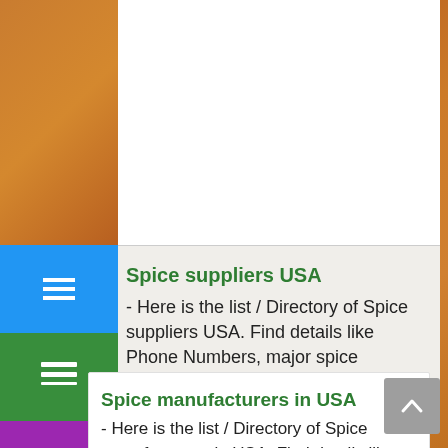[Figure (screenshot): Blue menu/hamburger icon button in sidebar]
[Figure (screenshot): Green document/list icon button in sidebar]
[Figure (screenshot): Purple archive/box icon button in sidebar]
[Figure (screenshot): Teal map pin/location icon button in sidebar]
[Figure (screenshot): Violet search/magnifier icon button in sidebar]
Spice suppliers USA - Here is the list / Directory of Spice suppliers USA. Find details like Phone Numbers, major spice items,... View Companies
Spice manufacturers in USA - Here is the list / Directory of Spice manufacturers in USA. Find details like Phone